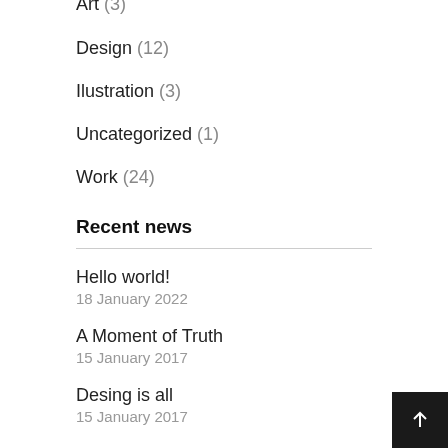Art (3)
Design (12)
Ilustration (3)
Uncategorized (1)
Work (24)
Recent news
Hello world!
18 January 2022
A Moment of Truth
15 January 2017
Desing is all
15 January 2017